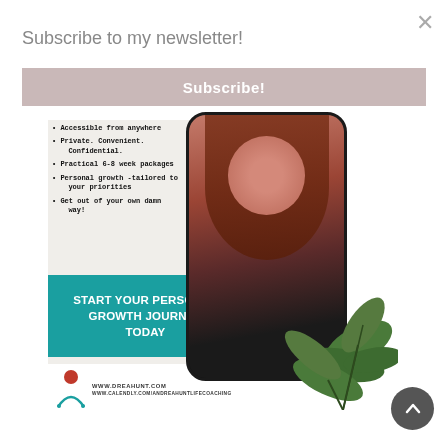Subscribe to my newsletter!
Subscribe!
[Figure (screenshot): Life coaching advertisement showing a woman with red hair on a phone mockup, bullet list of services, teal CTA box saying START YOUR PERSONAL GROWTH JOURNEY TODAY, website URLs WWW.DREAHUNT.COM and WWW.CALENDLY.COM/ANDREAHUNTLIFECOACHING, and decorative plant leaves overlay]
[Figure (illustration): Scroll to top button — dark grey circle with white upward arrow]